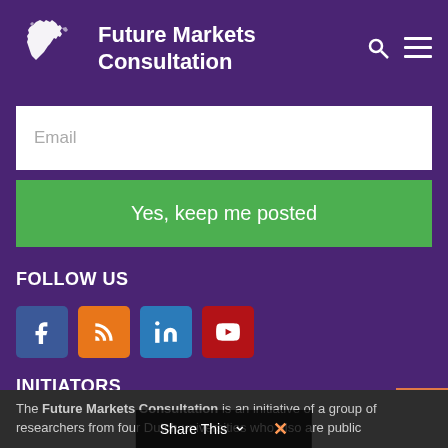Future Markets Consultation
Email
Yes, keep me posted
FOLLOW US
[Figure (infographic): Social media icons: Facebook, RSS, LinkedIn, YouTube]
INITIATORS
The Future Markets Consultation is an initiative of a group of researchers from four Dutch universities who also are public